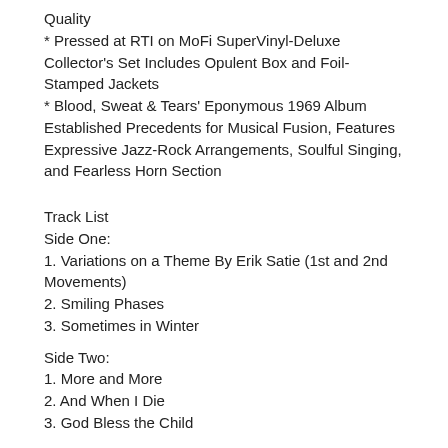Quality
* Pressed at RTI on MoFi SuperVinyl-Deluxe Collector's Set Includes Opulent Box and Foil-Stamped Jackets
* Blood, Sweat & Tears' Eponymous 1969 Album Established Precedents for Musical Fusion, Features Expressive Jazz-Rock Arrangements, Soulful Singing, and Fearless Horn Section
Track List
Side One:
1. Variations on a Theme By Erik Satie (1st and 2nd Movements)
2. Smiling Phases
3. Sometimes in Winter
Side Two:
1. More and More
2. And When I Die
3. God Bless the Child
Side Three:
1. Spinning Wheel
2. You've Made Me So Very Happy